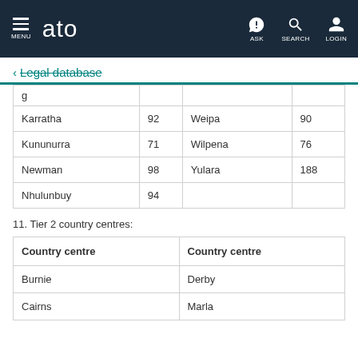ato — MENU | ASK | SEARCH | LOGIN
← Legal database
| g |  |  |  |
| Karratha | 92 | Weipa | 90 |
| Kununurra | 71 | Wilpena | 76 |
| Newman | 98 | Yulara | 188 |
| Nhulunbuy | 94 |  |  |
11. Tier 2 country centres:
| Country centre | Country centre |
| --- | --- |
| Burnie | Derby |
| Cairns | Marla |